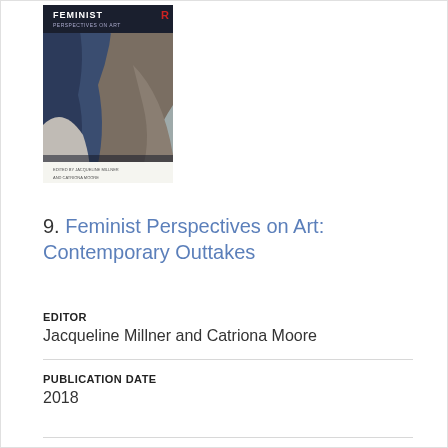[Figure (photo): Book cover of 'Feminist Perspectives on Art: Contemporary Outtakes' edited by Jacqueline Millner and Catriona Moore, published by Routledge. Shows draped fabric sculpture on cover.]
9. Feminist Perspectives on Art: Contemporary Outtakes
EDITOR
Jacqueline Millner and Catriona Moore
PUBLICATION DATE
2018